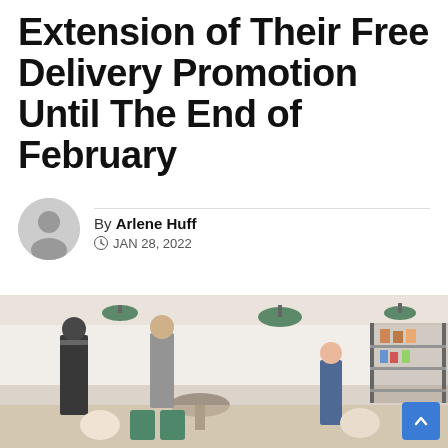Extension of Their Free Delivery Promotion Until The End of February
By Arlene Huff — JAN 28, 2022
[Figure (photo): Interior of a busy modern cafe/restaurant with green pendant lights, shelving with items, and people seated and standing at tables.]